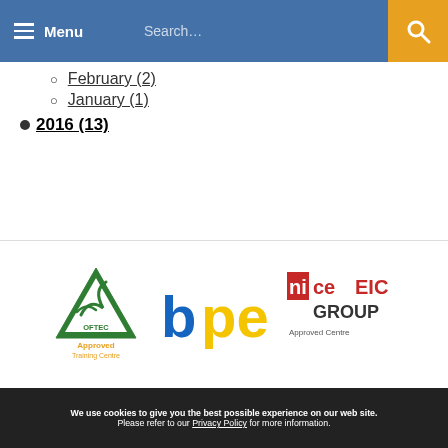Menu | Search...
February (2)
January (1)
2016 (13)
December (1)
November (4)
October (2)
September (3)
August (2)
April (1)
[Figure (logo): OFTEC Approved Training Centre logo (green triangle), BPEC logo (blue and yellow), NICEIC Group Approved Centre logo (red and black)]
We use cookies to give you the best possible experience on our web site. Please refer to our Privacy Policy for more information.